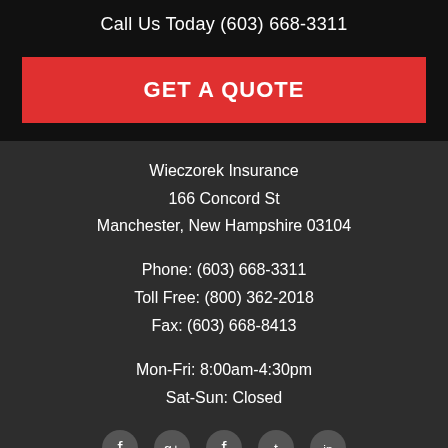Call Us Today (603) 668-3311
GET A QUOTE
Wieczorek Insurance
166 Concord St
Manchester, New Hampshire 03104
Phone: (603) 668-3311
Toll Free: (800) 362-2018
Fax: (603) 668-8413
Mon-Fri: 8:00am-4:30pm
Sat-Sun: Closed
[Figure (infographic): Social media icons row at bottom: Facebook, Google+, Facebook (duplicate), Twitter, and one more icon]